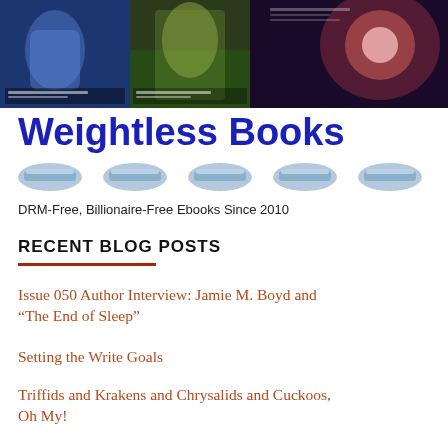[Figure (illustration): Header collage image showing sci-fi/fantasy book covers side by side]
Weightless Books
[Figure (illustration): Row of five blue book icons/logos]
DRM-Free, Billionaire-Free Ebooks Since 2010
RECENT BLOG POSTS
Issue 050 Author Interview: Jamie M. Boyd and “The End of Sleep”
Setting the Write Goals
Triffids and Krakens and Chrysalids and Cuckoos, Oh My!